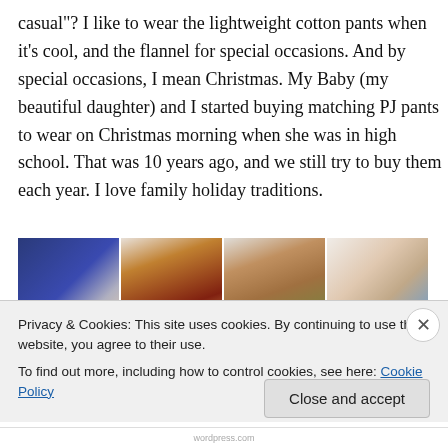casual"? I like to wear the lightweight cotton pants when it's cool, and the flannel for special occasions. And by special occasions, I mean Christmas. My Baby (my beautiful daughter) and I started buying matching PJ pants to wear on Christmas morning when she was in high school. That was 10 years ago, and we still try to buy them each year. I love family holiday traditions.
[Figure (photo): A horizontal strip of four photos showing: a snow globe with Wisconsin theme on a blue background, two sock monkey stuffed animals dressed in Christmas outfits, and a fabric with clothing illustrations.]
Privacy & Cookies: This site uses cookies. By continuing to use this website, you agree to their use.
To find out more, including how to control cookies, see here: Cookie Policy